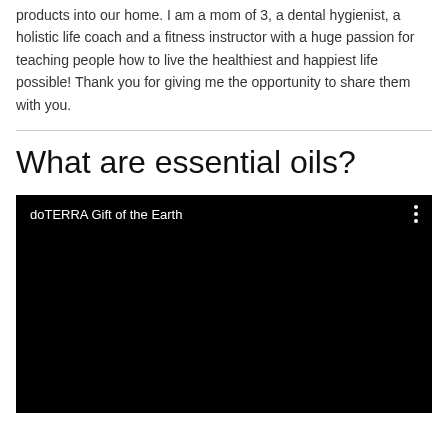products into our home. I am a mom of 3, a dental hygienist, a holistic life coach and a fitness instructor with a huge passion for teaching people how to live the healthiest and happiest life possible! Thank you for giving me the opportunity to share them with you.
What are essential oils?
[Figure (screenshot): Embedded video player with black background showing title 'doTERRA Gift of the Earth' and a three-dot menu icon in the top right corner.]